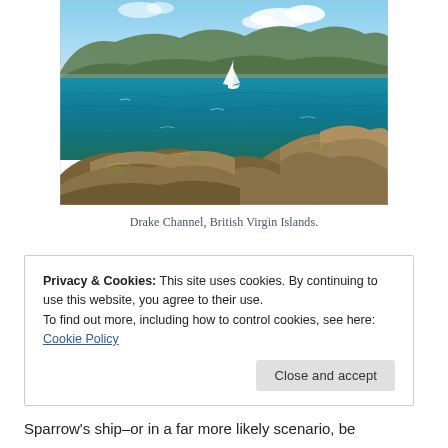[Figure (photo): Coastal scene showing rocky shoreline in foreground with bright blue-green ocean water, a white sailboat in the middle distance, and green mountainous islands under a partly cloudy sky — Drake Channel, British Virgin Islands.]
Drake Channel, British Virgin Islands.
Privacy & Cookies: This site uses cookies. By continuing to use this website, you agree to their use.
To find out more, including how to control cookies, see here: Cookie Policy
Sparrow's ship–or in a far more likely scenario, be